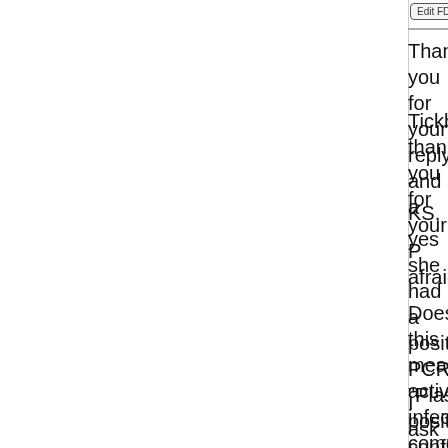Thank you for your replys and a
Tickbattler, thank you for your P afraid.
KS, yes she had a positive PCR "Plasmid, positive confirmed by
Does this means active infection come out?
I ask because her symptoms are good at the moment, and is very prescribe, I would have to buy d responsibilty to treat her - dose, prospect!
----
These are her possible symptoms months. All could be common vi blood results and the fact her br worried:
The consistant complaint has be and dark under the eyes.
On a number of occassions she less often, perhaps 4 houts in s